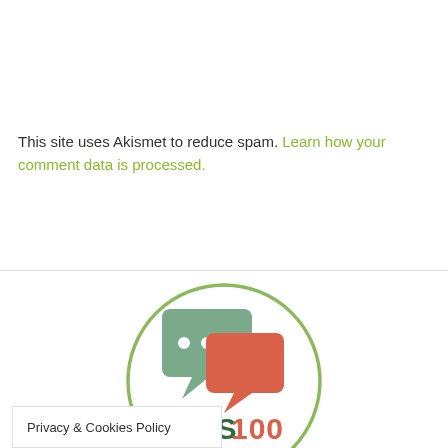This site uses Akismet to reduce spam. Learn how your comment data is processed.
[Figure (logo): TOTS100 UK Influencer logo — circular border with two overlapping speech bubble icons (sage green and coral/orange-red) above the text TOTS100 in dark green and orange, with 'UK INFLUENCER' below in dark green]
Privacy & Cookies Policy